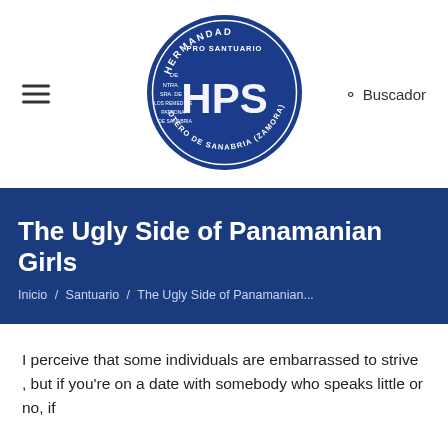[Figure (logo): Circular blue logo with white text: HERMANDAD PRO SANTUARIO DE NTRA. SRA. DE LOS REMEDIOS PATRONA DE SANABRIA, OTERO DE SANABRIA (ZAMORA), with stylized HPS letters in center]
The Ugly Side of Panamanian Girls
Inicio / Santuario / The Ugly Side of Panamanian...
I perceive that some individuals are embarrassed to strive , but if you're on a date with somebody who speaks little or no, if